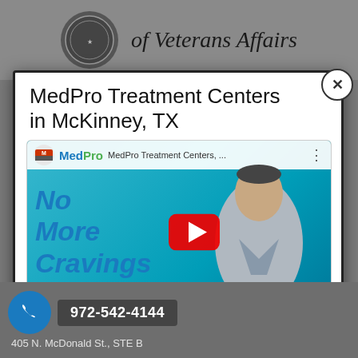[Figure (screenshot): Department of Veterans Affairs banner with VA seal and italic text 'of Veterans Affairs']
MedPro Treatment Centers in McKinney, TX
[Figure (screenshot): YouTube video thumbnail for MedPro Treatment Centers showing 'No More Cravings' text in blue, a man in a gray suit, and a red YouTube play button]
972-542-4144
405 N. McDonald St., STE B